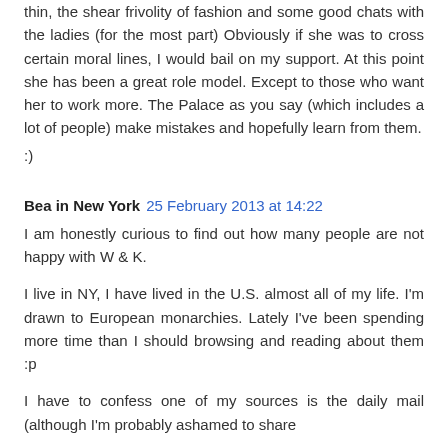thin, the shear frivolity of fashion and some good chats with the ladies (for the most part) Obviously if she was to cross certain moral lines, I would bail on my support. At this point she has been a great role model. Except to those who want her to work more. The Palace as you say (which includes a lot of people) make mistakes and hopefully learn from them.
:)
Bea in New York  25 February 2013 at 14:22
I am honestly curious to find out how many people are not happy with W & K.
I live in NY, I have lived in the U.S. almost all of my life. I'm drawn to European monarchies. Lately I've been spending more time than I should browsing and reading about them :p
I have to confess one of my sources is the daily mail (although I'm probably ashamed to share